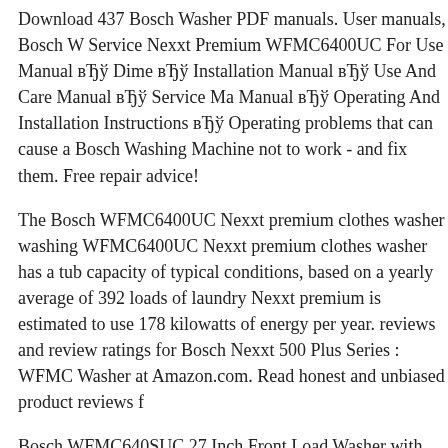Download 437 Bosch Washer PDF manuals. User manuals, Bosch W Service Nexxt Premium WFMC6400UC For Use Manual вЂў Dime вЂў Installation Manual вЂў Use And Care Manual вЂў Service Ma Manual вЂў Operating And Installation Instructions вЂў Operating problems that can cause a Bosch Washing Machine not to work - and fix them. Free repair advice!
The Bosch WFMC6400UC Nexxt premium clothes washer washing WFMC6400UC Nexxt premium clothes washer has a tub capacity of typical conditions, based on a yearly average of 392 loads of laundry Nexxt premium is estimated to use 178 kilowatts of energy per year. reviews and review ratings for Bosch Nexxt 500 Plus Series : WFMC Washer at Amazon.com. Read honest and unbiased product reviews f
Bosch WFMC640SUC 27 Inch Front Load Washer with 3.81 cu. ft. C Energy Consumption of 178 kWh/year, 3 Language LCD Display & The Bosch WFMC6400UC Nexxt premium clothes washer washing WFMC6400UC Nexxt premium clothes washer has a tub capacity of typical conditions, based on a yearly average of 392 loads of laundry Nexxt premium is estimated to use 178 kilowatts of energy per year.